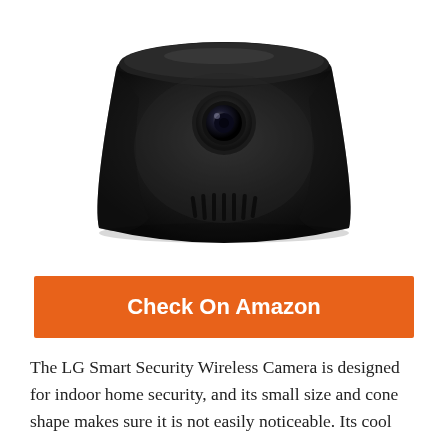[Figure (photo): LG Smart Security Wireless Camera — a black dome/cone-shaped security camera viewed from the front, showing a circular camera lens in the upper-center area and ventilation slits at the bottom. The top is a glossy rounded black cap.]
Check On Amazon
The LG Smart Security Wireless Camera is designed for indoor home security, and its small size and cone shape makes sure it is not easily noticeable. Its cool